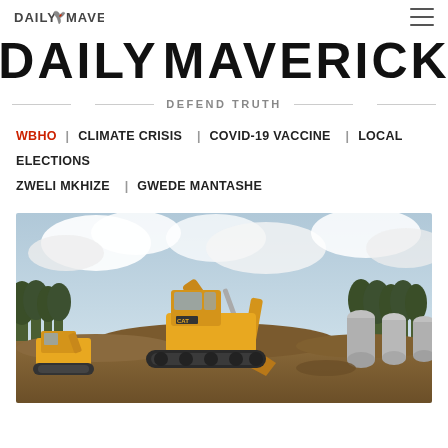DAILY MAVERICK
DAILY MAVERICK
DEFEND TRUTH
WBHO  CLIMATE CRISIS  COVID-19 VACCINE  LOCAL ELECTIONS  ZWELI MKHIZE  GWEDE MANTASHE
[Figure (photo): A large yellow CAT excavator on a construction site with dirt mounds, smaller yellow machinery on left, industrial storage tanks on right, trees in background, overcast sky]